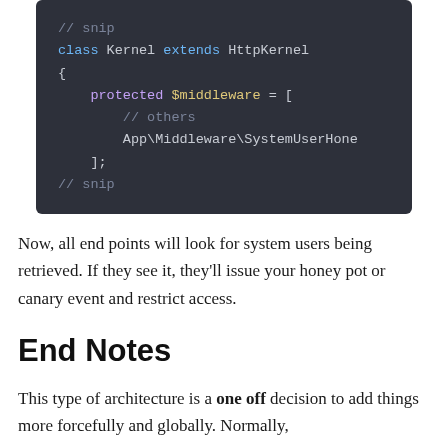[Figure (screenshot): Dark-themed code block showing PHP Laravel Kernel class with $middleware array containing a comment '// others' and App\Middleware\SystemUserHone entry, surrounded by '// snip' comments]
Now, all end points will look for system users being retrieved. If they see it, they'll issue your honey pot or canary event and restrict access.
End Notes
This type of architecture is a one off decision to add things more forcefully and globally. Normally,